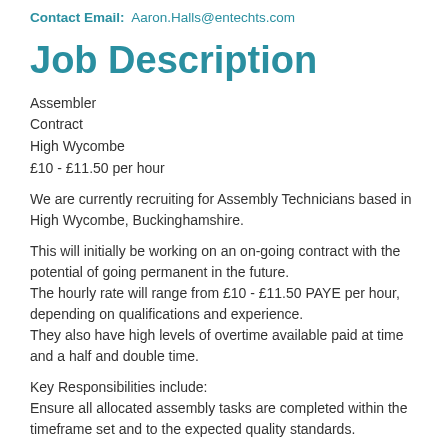Contact Email: Aaron.Halls@entechts.com
Job Description
Assembler
Contract
High Wycombe
£10 - £11.50 per hour
We are currently recruiting for Assembly Technicians based in High Wycombe, Buckinghamshire.
This will initially be working on an on-going contract with the potential of going permanent in the future.
The hourly rate will range from £10 - £11.50 PAYE per hour, depending on qualifications and experience.
They also have high levels of overtime available paid at time and a half and double time.
Key Responsibilities include:
Ensure all allocated assembly tasks are completed within the timeframe set and to the expected quality standards.